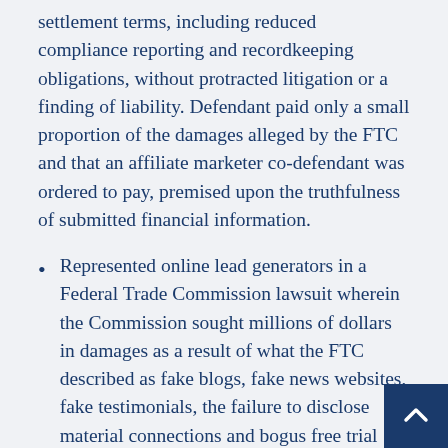successfully negotiated extremely favorable settlement terms, including reduced compliance reporting and recordkeeping obligations, without protracted litigation or a finding of liability. Defendant paid only a small proportion of the damages alleged by the FTC and that an affiliate marketer co-defendant was ordered to pay, premised upon the truthfulness of submitted financial information.
Represented online lead generators in a Federal Trade Commission lawsuit wherein the Commission sought millions of dollars in damages as a result of what the FTC described as fake blogs, fake news websites, fake testimonials, the failure to disclose material connections and bogus free trial offers in conjunction with selling Acai berry weight loss products. The firm successfully